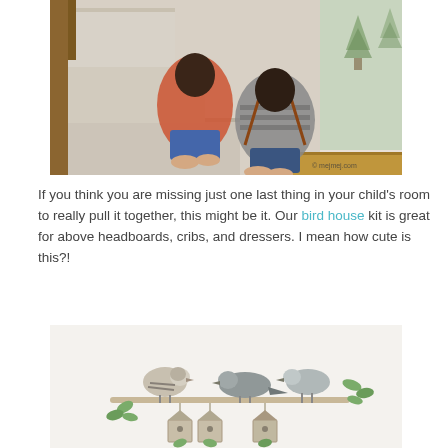[Figure (photo): Two young boys sitting on carpeted stairs playing with toys. One wears a red shirt, the other a striped shirt with suspenders. Wall decals of pine trees visible on green wall. Watermark reads: © mejmej.com]
If you think you are missing just one last thing in your child's room to really pull it together, this might be it. Our bird house kit is great for above headboards, cribs, and dressers. I mean how cute is this?!
[Figure (photo): Wall decal illustration showing three birds perched on a branch with small birdhouses hanging below and green leaf sprigs, on a white/cream background.]